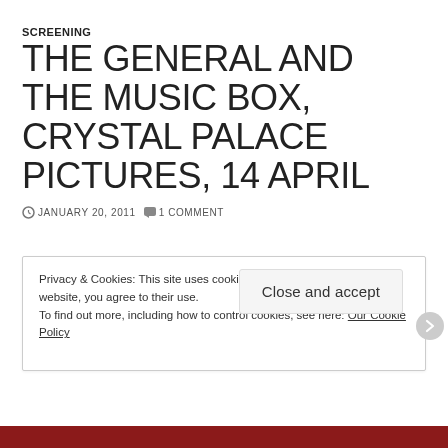SCREENING
THE GENERAL AND THE MUSIC BOX, CRYSTAL PALACE PICTURES, 14 APRIL
JANUARY 20, 2011  1 COMMENT
Privacy & Cookies: This site uses cookies. By continuing to use this website, you agree to their use.
To find out more, including how to control cookies, see here: Our Cookie Policy
Close and accept